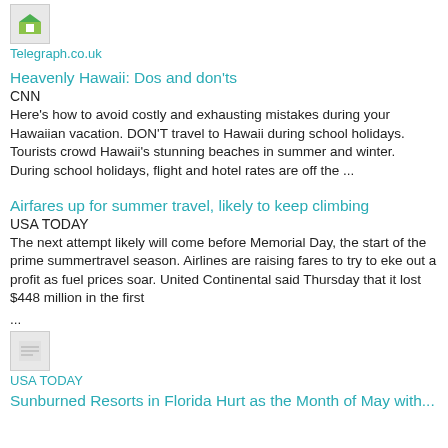[Figure (other): Small thumbnail image placeholder for Telegraph.co.uk result]
Telegraph.co.uk
Heavenly Hawaii: Dos and don'ts
CNN
Here's how to avoid costly and exhausting mistakes during your Hawaiian vacation. DON'T travel to Hawaii during school holidays. Tourists crowd Hawaii's stunning beaches in summer and winter. During school holidays, flight and hotel rates are off the ...
Airfares up for summer travel, likely to keep climbing
USA TODAY
The next attempt likely will come before Memorial Day, the start of the prime summertravel season. Airlines are raising fares to try to eke out a profit as fuel prices soar. United Continental said Thursday that it lost $448 million in the first ...
[Figure (other): Small thumbnail image placeholder for USA TODAY result]
USA TODAY
Sunburned Resorts in Florida Hurt as the Month of May with...